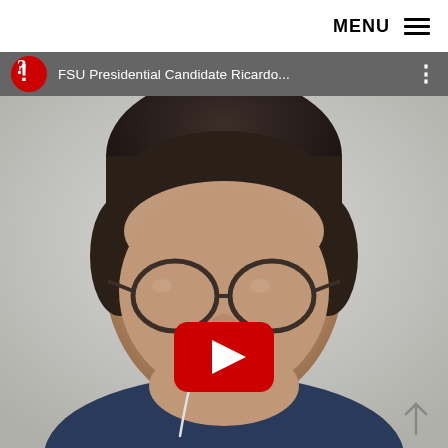MENU ☰
[Figure (screenshot): YouTube video player showing a man with glasses and earphones in a video call. Title text reads 'FSU Presidential Candidate Ricardo...' with a YouTube logo in the top-left corner and three dots menu in top-right. A red YouTube play button is overlaid at the bottom-center. An upward arrow is at the bottom-right.]